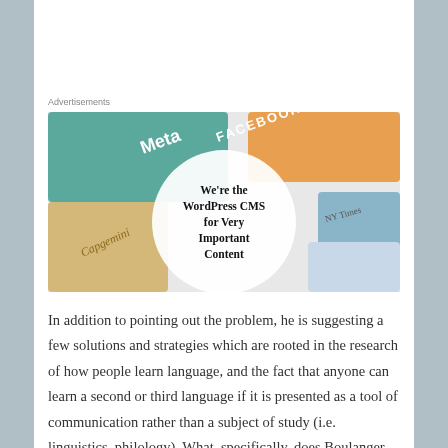Advertisements
[Figure (illustration): Advertisement banner for WordPress CMS showing overlapping media brand logos (Meta, Facebook, Capgemini, NY Times) with a white circular overlay reading 'We're the WordPress CMS for Very Important Content']
In addition to pointing out the problem, he is suggesting a few solutions and strategies which are rooted in the research of how people learn language, and the fact that anyone can learn a second or third language if it is presented as a tool of communication rather than a subject of study (i.e. linguistics, philology). What, specifically, does Boulanger suggest for making this